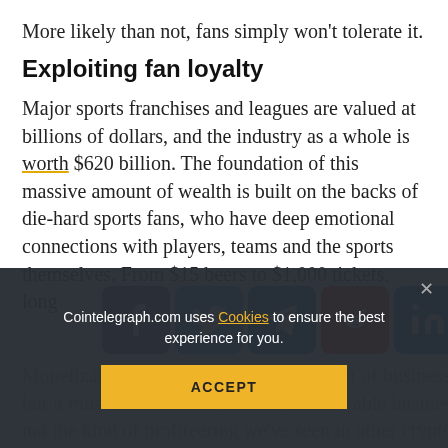More likely than not, fans simply won't tolerate it.
Exploiting fan loyalty
Major sports franchises and leagues are valued at billions of dollars, and the industry as a whole is worth $620 billion. The foundation of this massive amount of wealth is built on the backs of die-hard sports fans, who have deep emotional connections with players, teams and the sports themselves. From $15 beers to $1,000 tick[ets, sports fans have long…]
[Figure (other): Social media share bar with icons: Facebook, Twitter, Telegram, Reddit, LinkedIn, WhatsApp, Copy, Scroll-up]
Monetization is a normal and healthy part of business, but it must be within the bounds of honorable business, not the kind of profiteering we've seen in other crypto trends until now.
Cointelegraph.com uses Cookies to ensure the best experience for you. [ACCEPT button]